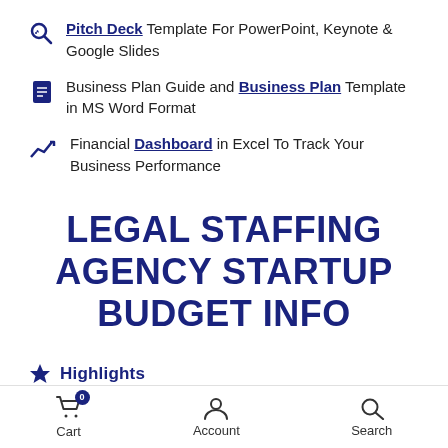Pitch Deck Template For PowerPoint, Keynote & Google Slides
Business Plan Guide and Business Plan Template in MS Word Format
Financial Dashboard in Excel To Track Your Business Performance
LEGAL STAFFING AGENCY STARTUP BUDGET INFO
Highlights
Cart 0  Account  Search